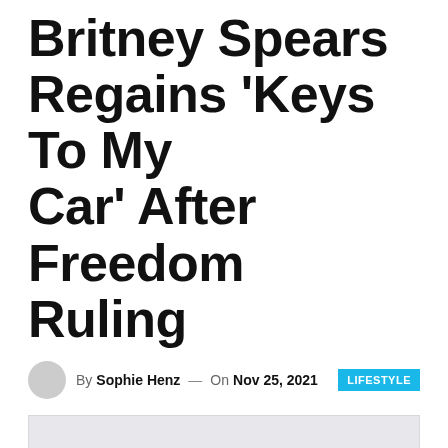Britney Spears Regains 'Keys To My Car' After Freedom Ruling
By Sophie Henz — On Nov 25, 2021
[Figure (photo): Placeholder image area, light gray background]